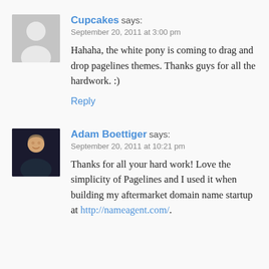[Figure (photo): Gray placeholder avatar icon for user Cupcakes]
Cupcakes says:
September 20, 2011 at 3:00 pm
Hahaha, the white pony is coming to drag and drop pagelines themes. Thanks guys for all the hardwork. :)
Reply
[Figure (photo): Photo of Adam Boettiger, a man with short hair wearing a dark shirt]
Adam Boettiger says:
September 20, 2011 at 10:21 pm
Thanks for all your hard work! Love the simplicity of Pagelines and I used it when building my aftermarket domain name startup at http://nameagent.com/.